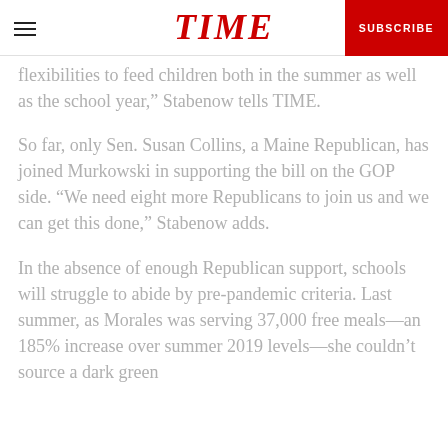TIME | SUBSCRIBE
flexibilities to feed children both in the summer as well as the school year," Stabenow tells TIME.
So far, only Sen. Susan Collins, a Maine Republican, has joined Murkowski in supporting the bill on the GOP side. "We need eight more Republicans to join us and we can get this done," Stabenow adds.
In the absence of enough Republican support, schools will struggle to abide by pre-pandemic criteria. Last summer, as Morales was serving 37,000 free meals—an 185% increase over summer 2019 levels—she couldn't source a dark green